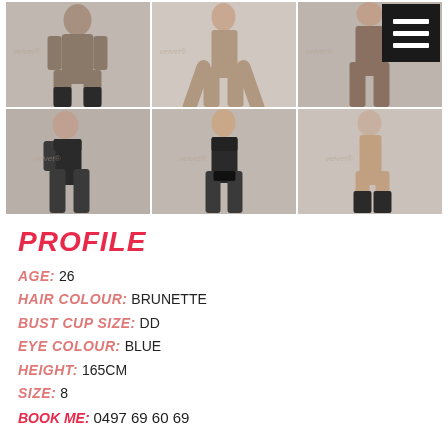[Figure (photo): Grid of 6 photos showing a brunette woman in various poses wearing black lingerie]
PROFILE
AGE: 26
HAIR COLOUR: BRUNETTE
BUST CUP SIZE: DD
EYE COLOUR: BLUE
HEIGHT: 165CM
SIZE: 8
BOOK ME: 0497 69 60 69